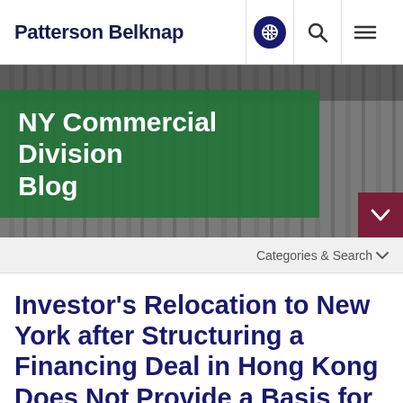Patterson Belknap
[Figure (screenshot): NY Commercial Division Blog hero image with green overlay banner over a black and white architectural background photo]
NY Commercial Division Blog
Categories & Search
Investor's Relocation to New York after Structuring a Financing Deal in Hong Kong Does Not Provide a Basis for Suit Against Swiss Bank UBS in New York, Holds Commercial